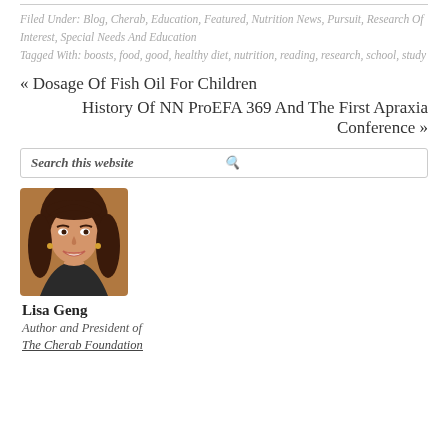Filed Under: Blog, Cherab, Education, Featured, Nutrition News, Pursuit, Research Of Interest, Special Needs And Education
Tagged With: boosts, food, good, healthy diet, nutrition, reading, research, school, study
« Dosage Of Fish Oil For Children
History Of NN ProEFA 369 And The First Apraxia Conference »
Search this website
[Figure (photo): Headshot photo of Lisa Geng, a woman with long brown hair, smiling]
Lisa Geng
Author and President of
The Cherab Foundation